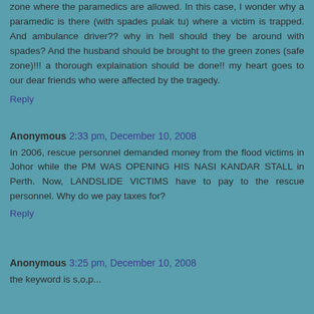zone where the paramedics are allowed. In this case, I wonder why a paramedic is there (with spades pulak tu) where a victim is trapped. And ambulance driver?? why in hell should they be around with spades? And the husband should be brought to the green zones (safe zone)!!! a thorough explaination should be done!! my heart goes to our dear friends who were affected by the tragedy.
Reply
Anonymous 2:33 pm, December 10, 2008
In 2006, rescue personnel demanded money from the flood victims in Johor while the PM WAS OPENING HIS NASI KANDAR STALL in Perth. Now, LANDSLIDE VICTIMS have to pay to the rescue personnel. Why do we pay taxes for?
Reply
Anonymous 3:25 pm, December 10, 2008
the keyword is s,o,p...